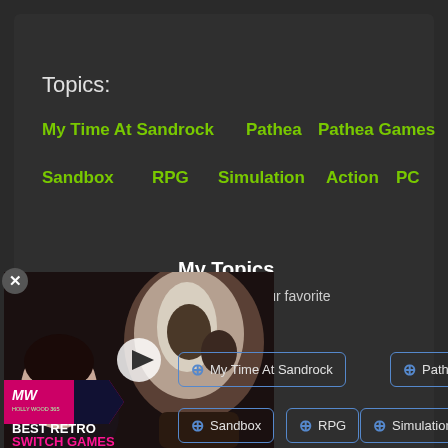Topics:
My Time At Sandrock
Pathea
Pathea Games
Sandbox
RPG
Simulation
Action
PC
My Topics
odated with your favorite
[Figure (screenshot): Video ad overlay showing two characters with text 'BEST RETRO SWITCH GAMES' and MW logo badge, with a play button]
My Time At Sandrock
Pathea
Sandbox
RPG
Simulation